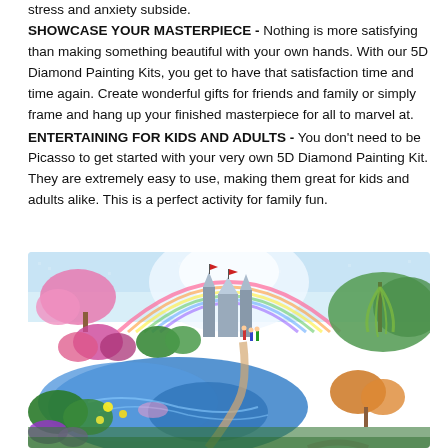stress and anxiety subside.
SHOWCASE YOUR MASTERPIECE - Nothing is more satisfying than making something beautiful with your own hands. With our 5D Diamond Painting Kits, you get to have that satisfaction time and time again. Create wonderful gifts for friends and family or simply frame and hang up your finished masterpiece for all to marvel at.
ENTERTAINING FOR KIDS AND ADULTS - You don't need to be Picasso to get started with your very own 5D Diamond Painting Kit. They are extremely easy to use, making them great for kids and adults alike. This is a perfect activity for family fun.
[Figure (photo): A colorful 5D diamond painting artwork showing a fantasy castle scene with rainbow, flowers, trees, a river, and small human figures walking in a vibrant landscape.]